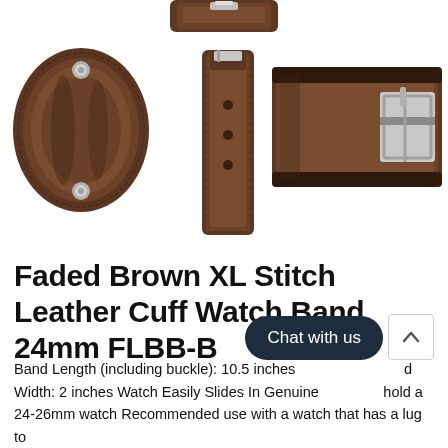[Figure (photo): Three views of a faded brown XL stitch leather cuff watch band 24mm FLBB-B: left view shows the cuff band folded/worn perspective with two snap buttons, center view shows the watch strap laid flat vertically with dotted stitch edges and two holes, right view shows the buckle end of the band with silver rectangular buckle and row of holes. A partial top-center image shows the top of the band.]
Faded Brown XL Stitch Leather Cuff Watch Band 24mm FLBB-B
Band Length (including buckle): 10.5 inches  d Width: 2 inches Watch Easily Slides In Genuine  hold a 24-26mm watch Recommended use with a watch that has a lug to  d